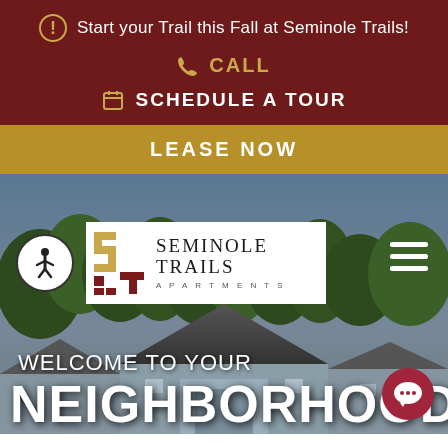Start your Trail this Fall at Seminole Trails!
CALL
SCHEDULE A TOUR
LEASE NOW
[Figure (screenshot): Seminole Trails Apartments website header with logo, accessibility icon, hamburger menu, and hero background photo of apartment building with trees]
WELCOME TO YOUR
NEIGHBORHOOD